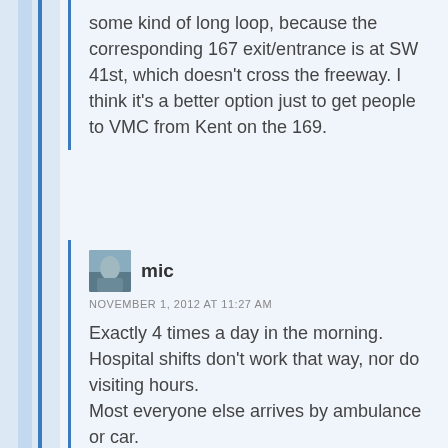some kind of long loop, because the corresponding 167 exit/entrance is at SW 41st, which doesn't cross the freeway. I think it's a better option just to get people to VMC from Kent on the 169.
[Figure (photo): Small avatar photo of user 'mic', appears to show a person outdoors]
mic
NOVEMBER 1, 2012 AT 11:27 AM
Exactly 4 times a day in the morning. Hospital shifts don't work that way, nor do visiting hours.
Most everyone else arrives by ambulance or car.